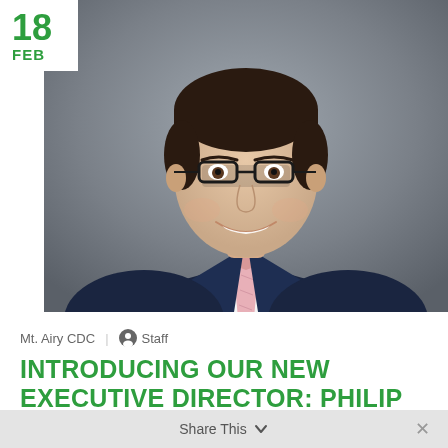[Figure (photo): Professional headshot of Philip Dawson, a young man in a dark navy suit with a light pink tie and glasses, smiling, against a grey background]
18
FEB
Mt. Airy CDC | Staff
INTRODUCING OUR NEW EXECUTIVE DIRECTOR: PHILIP DAWSON
Share This